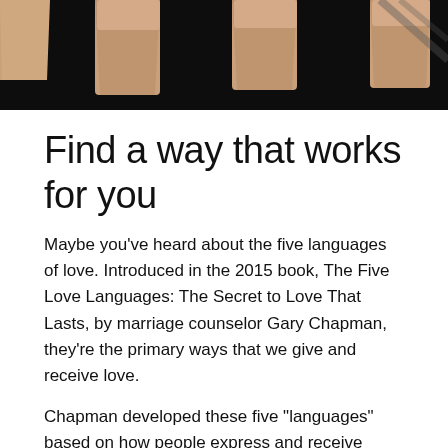[Figure (photo): Banner of four hand/arm close-up photos on black background at top of page]
Find a way that works for you
Maybe you've heard about the five languages of love. Introduced in the 2015 book, The Five Love Languages: The Secret to Love That Lasts, by marriage counselor Gary Chapman, they're the primary ways that we give and receive love.
Chapman developed these five "languages" based on how people express and receive romantic love: saying supportive things, doing helpful things, giving and receiving gifts, spending meaningful time together, and physical touch. I think they can also work to express our ally love.
A recovery ally provides meaningful non-judgmental support